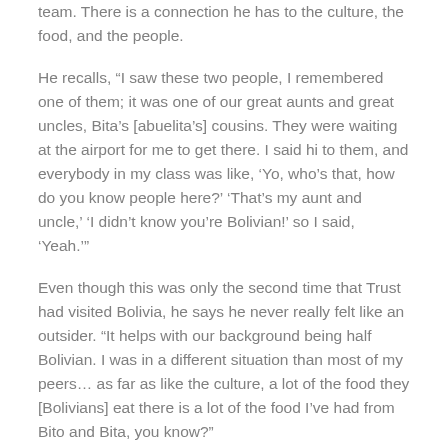team. There is a connection he has to the culture, the food, and the people.
He recalls, “I saw these two people, I remembered one of them; it was one of our great aunts and great uncles, Bita’s [abuelita’s] cousins. They were waiting at the airport for me to get there. I said hi to them, and everybody in my class was like, ‘Yo, who’s that, how do you know people here?’ ‘That’s my aunt and uncle,’ ‘I didn’t know you’re Bolivian!’ so I said, ‘Yeah.’”
Even though this was only the second time that Trust had visited Bolivia, he says he never really felt like an outsider. “It helps with our background being half Bolivian. I was in a different situation than most of my peers… as far as like the culture, a lot of the food they [Bolivians] eat there is a lot of the food I’ve had from Bito and Bita, you know?”
Trust describes himself as an outgoing person, someone who likes to meet new people and build relationships. What he discovered was that people in Cochabamba are not much different from people back at home.
“Some of my best friends still live there now. I still keep in contact